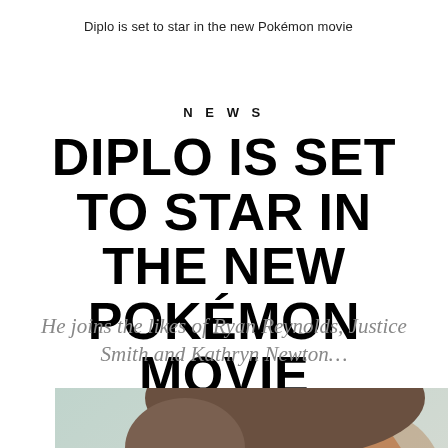Diplo is set to star in the new Pokémon movie
NEWS
DIPLO IS SET TO STAR IN THE NEW POKÉMON MOVIE
He joins the likes of Ryan Reynolds, Justice Smith and Kathryn Newton…
[Figure (photo): Close-up photo of a smiling man (Diplo) in profile, with short hair, against a light greenish-grey background.]